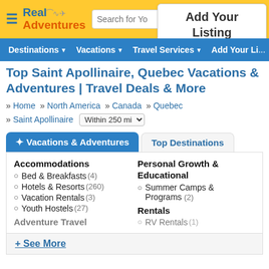Real Adventures — Search for Yo... | Add Your Listing
Destinations ▾  Vacations ▾  Travel Services ▾  Add Your Li...
Top Saint Apollinaire, Quebec Vacations & Adventures | Travel Deals & More
» Home  » North America  » Canada  » Quebec  » Saint Apollinaire  Within 250 mi
Vacations & Adventures  |  Top Destinations
Accommodations
Bed & Breakfasts (4)
Hotels & Resorts (260)
Vacation Rentals (3)
Youth Hostels (27)
Adventure Travel
Personal Growth & Educational
Summer Camps & Programs (2)
Rentals
RV Rentals (1)
+ See More